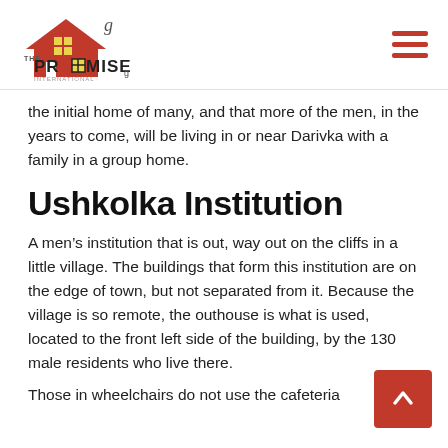THE PROMISE (logo)
the initial home of many, and that more of the men, in the years to come, will be living in or near Darivka with a family in a group home.
Ushkolka Institution
A men’s institution that is out, way out on the cliffs in a little village. The buildings that form this institution are on the edge of town, but not separated from it. Because the village is so remote, the outhouse is what is used, located to the front left side of the building, by the 130 male residents who live there.
Those in wheelchairs do not use the cafeteria